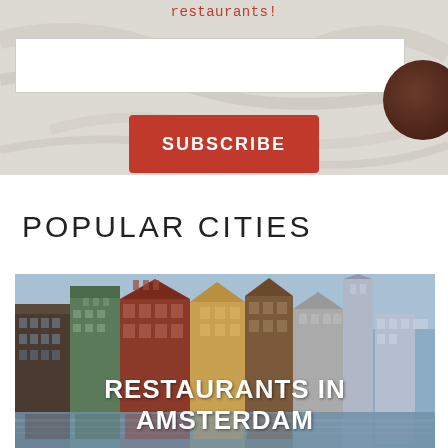restaurants!
[Figure (screenshot): Input/subscribe form on marble background with food image]
POPULAR CITIES
[Figure (photo): Photo of Amsterdam canal with traditional Dutch buildings and 'RESTAURANTS IN AMSTERDAM' text overlay]